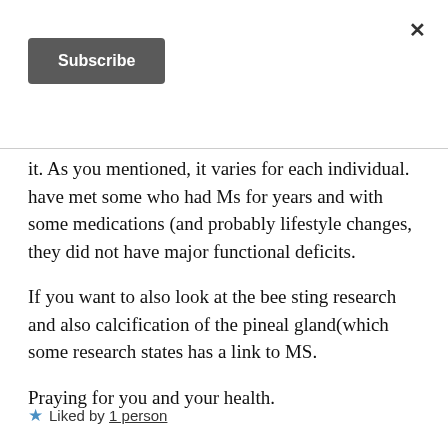×
[Figure (other): Subscribe button - dark grey rounded rectangle with white bold text 'Subscribe']
it. As you mentioned, it varies for each individual. have met some who had Ms for years and with some medications (and probably lifestyle changes, they did not have major functional deficits.
If you want to also look at the bee sting research and also calcification of the pineal gland(which some research states has a link to MS.
Praying for you and your health.
★ Liked by 1 person